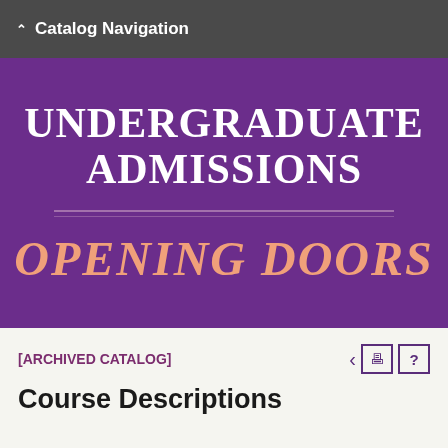Catalog Navigation
[Figure (illustration): Purple banner with white serif text reading 'UNDERGRADUATE ADMISSIONS', a double horizontal divider line, and italic peach/salmon colored text reading 'OPENING DOORS']
[ARCHIVED CATALOG]
Course Descriptions